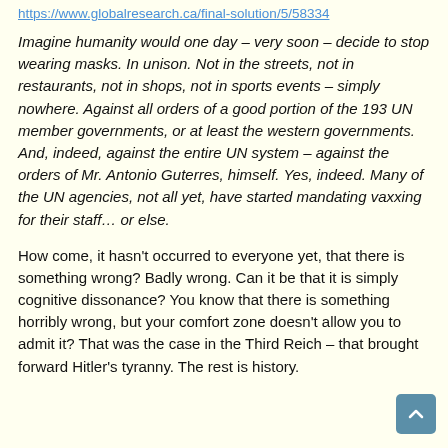https://www.globalresearch.ca/final-solution/5/58334
Imagine humanity would one day – very soon – decide to stop wearing masks. In unison. Not in the streets, not in restaurants, not in shops, not in sports events – simply nowhere. Against all orders of a good portion of the 193 UN member governments, or at least the western governments. And, indeed, against the entire UN system – against the orders of Mr. Antonio Guterres, himself. Yes, indeed. Many of the UN agencies, not all yet, have started mandating vaxxing for their staff… or else.
How come, it hasn't occurred to everyone yet, that there is something wrong? Badly wrong. Can it be that it is simply cognitive dissonance? You know that there is something horribly wrong, but your comfort zone doesn't allow you to admit it? That was the case in the Third Reich – that brought forward Hitler's tyranny. The rest is history.